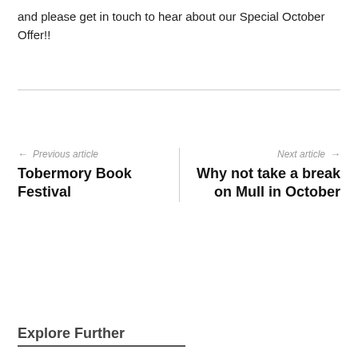and please get in touch to hear about our Special October Offer!!
← Previous article
Tobermory Book Festival
Next article →
Why not take a break on Mull in October
Explore Further